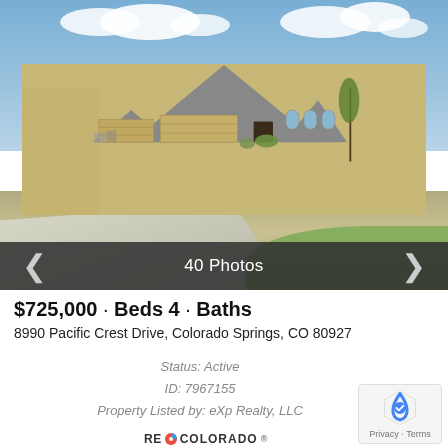[Figure (photo): Exterior photo of a single-story tan/beige stucco house with a three-car garage, arched windows, and desert/grass landscaping under a partly cloudy blue sky. Photo carousel with '40 Photos' indicator and navigation arrows.]
$725,000 · Beds 4 · Baths
8990 Pacific Crest Drive, Colorado Springs, CO 80927
Status: Active
ID: 7967155
Property Listed by: eXp Realty, LLC
[Figure (logo): RE/COLORADO logo with a bicolor circle icon]
[Figure (other): Google reCAPTCHA badge with Privacy · Terms text]